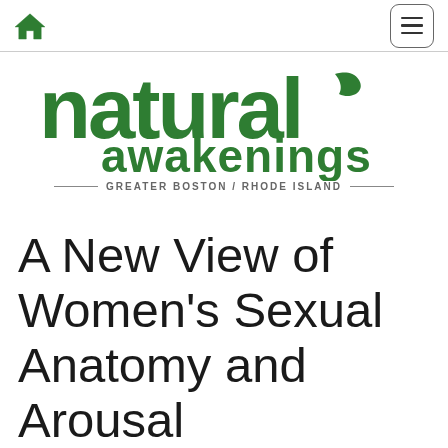Home | Menu
[Figure (logo): Natural Awakenings Greater Boston / Rhode Island logo with green leaf design]
A New View of Women's Sexual Anatomy and Arousal